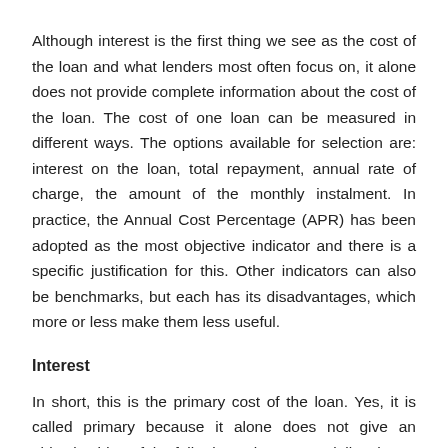Although interest is the first thing we see as the cost of the loan and what lenders most often focus on, it alone does not provide complete information about the cost of the loan. The cost of one loan can be measured in different ways. The options available for selection are: interest on the loan, total repayment, annual rate of charge, the amount of the monthly instalment. In practice, the Annual Cost Percentage (APR) has been adopted as the most objective indicator and there is a specific justification for this. Other indicators can also be benchmarks, but each has its disadvantages, which more or less make them less useful.
Interest
In short, this is the primary cost of the loan. Yes, it is called primary because it alone does not give an objective idea of the full price. A loan, especially a home loan, is usually associated